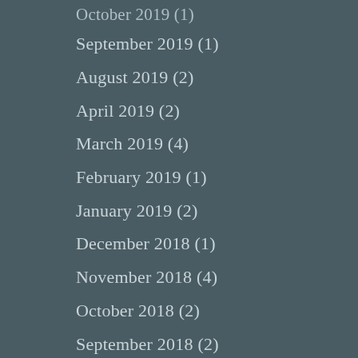October 2019 (1)
September 2019 (1)
August 2019 (2)
April 2019 (2)
March 2019 (4)
February 2019 (1)
January 2019 (2)
December 2018 (1)
November 2018 (4)
October 2018 (2)
September 2018 (2)
August 2018 (4)
July 2018 (4)
June 2018 (5)
April 2018 (3)
March 2018 (2)